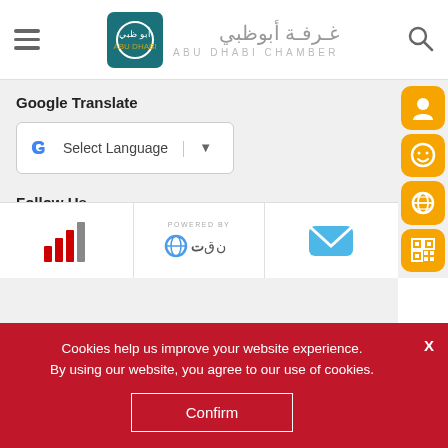[Figure (logo): Abu Dhabi Chamber logo with Arabic text and English subtitle]
Google Translate
[Figure (screenshot): Google Translate Select Language dropdown widget]
Follow Us
[Figure (infographic): Social media icons: Facebook, Instagram, Twitter]
[Figure (infographic): Bottom strip with logos: STC signal bars, Powered By text with logo, email icon]
[Figure (infographic): Right sidebar with 4 orange action buttons: user profile, smiley, flower/snowflake, QR code]
Cookies help us improve your website experience.
By using our website, you agree to our use of cookies.
Confirm